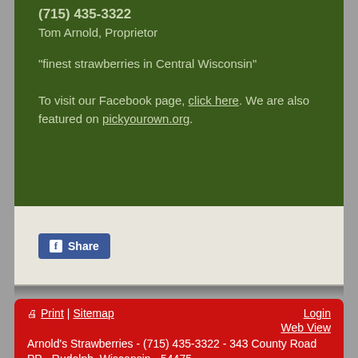(715) 435-3322
Tom Arnold, Proprietor
"finest strawberries in Central Wisconsin"
To visit our Facebook page, click here. We are also featured on pickyourown.org.
Share
Print | Sitemap  Login  Web View  Arnold's Strawberries - (715) 435-3322 - 343 County Road PP - Rudolph, Wisconsin - 54475